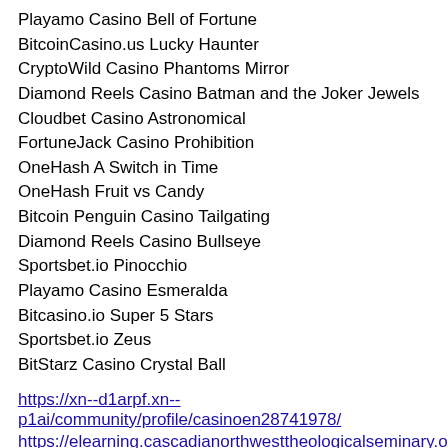Playamo Casino Bell of Fortune
BitcoinCasino.us Lucky Haunter
CryptoWild Casino Phantoms Mirror
Diamond Reels Casino Batman and the Joker Jewels
Cloudbet Casino Astronomical
FortuneJack Casino Prohibition
OneHash A Switch in Time
OneHash Fruit vs Candy
Bitcoin Penguin Casino Tailgating
Diamond Reels Casino Bullseye
Sportsbet.io Pinocchio
Playamo Casino Esmeralda
Bitcasino.io Super 5 Stars
Sportsbet.io Zeus
BitStarz Casino Crystal Ball
https://xn--d1arpf.xn--p1ai/community/profile/casinoen28741978/
https://elearning.cascadianorthwesttheologicalseminary.org/activity/p/43790/